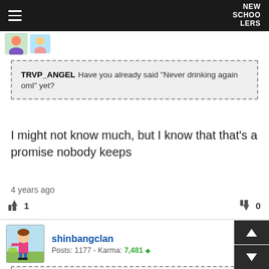NEW SCHOOLERS
[Figure (illustration): Two small cartoon avatar icons at top left]
TRVP_ANGEL Have you already said "Never drinking again oml" yet?
I might not know much, but I know that that's a promise nobody keeps
4 years ago
👍 1   👎 0
[Figure (illustration): Cartoon avatar of a child figure with brown hair on light blue background]
shinbangclan
Posts: 1177 - Karma: 7,481
Titus69 if you feel you need to puke when youre drunk, do it cause you feel great after it